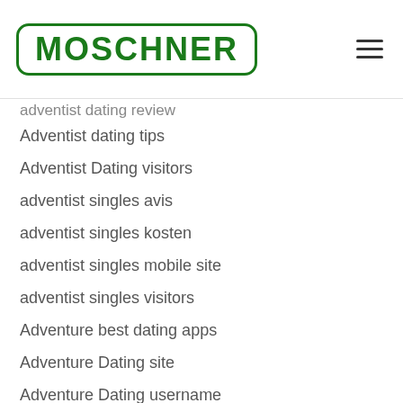MOSCHNER
adventist dating review
Adventist dating tips
Adventist Dating visitors
adventist singles avis
adventist singles kosten
adventist singles mobile site
adventist singles visitors
Adventure best dating apps
Adventure Dating site
Adventure Dating username
Adventure Dating visitors
affair-dating reviews